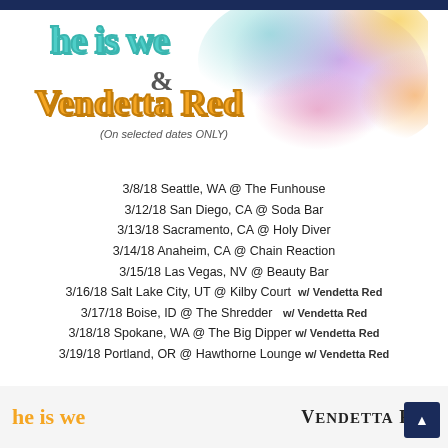[Figure (illustration): Concert/tour flyer for He Is We and Vendetta Red with watercolor paint splash background in purple, teal, yellow and orange]
he is we
& Vendetta Red
(On selected dates ONLY)
3/8/18 Seattle, WA @ The Funhouse
3/12/18 San Diego, CA @ Soda Bar
3/13/18 Sacramento, CA @ Holy Diver
3/14/18 Anaheim, CA @ Chain Reaction
3/15/18 Las Vegas, NV @ Beauty Bar
3/16/18 Salt Lake City, UT @ Kilby Court   w/ Vendetta Red
3/17/18 Boise, ID @ The Shredder    w/ Vendetta Red
3/18/18 Spokane, WA @ The Big Dipper  w/ Vendetta Red
3/19/18 Portland, OR @ Hawthorne Lounge w/ Vendetta Red
[Figure (logo): he is we logo in orange handwritten font]
[Figure (logo): VENDETTA RED logo in serif font]